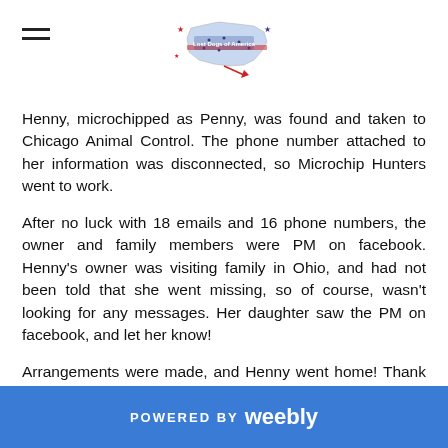[Logo: Lost Dogs of America]
Henny, microchipped as Penny, was found and taken to Chicago Animal Control. The phone number attached to her information was disconnected, so Microchip Hunters went to work.
After no luck with 18 emails and 16 phone numbers, the owner and family members were PM on facebook. Henny's owner was visiting family in Ohio, and had not been told that she went missing, so of course, wasn't looking for any messages. Her daughter saw the PM on facebook, and let her know!
Arrangements were made, and Henny went home! Thank goodness for her microchip!
POWERED BY weebly